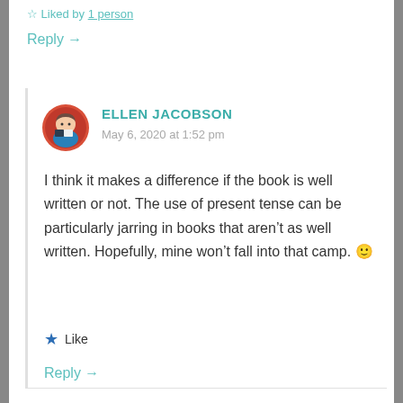Liked by 1 person
Reply →
ELLEN JACOBSON
May 6, 2020 at 1:52 pm
I think it makes a difference if the book is well written or not. The use of present tense can be particularly jarring in books that aren't as well written. Hopefully, mine won't fall into that camp. 🙂
Like
Reply →